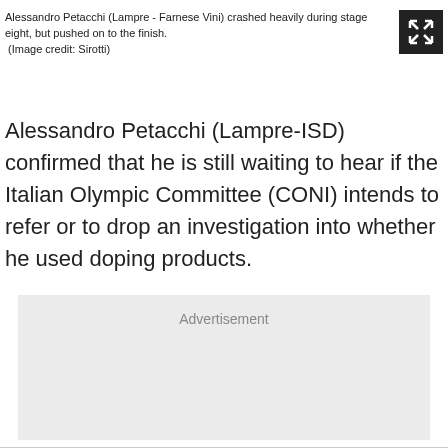Alessandro Petacchi (Lampre - Farnese Vini) crashed heavily during stage eight, but pushed on to the finish.
 (Image credit: Sirotti)
Alessandro Petacchi (Lampre-ISD) confirmed that he is still waiting to hear if the Italian Olympic Committee (CONI) intends to refer or to drop an investigation into whether he used doping products.
[Figure (other): Advertisement placeholder box with grey background]